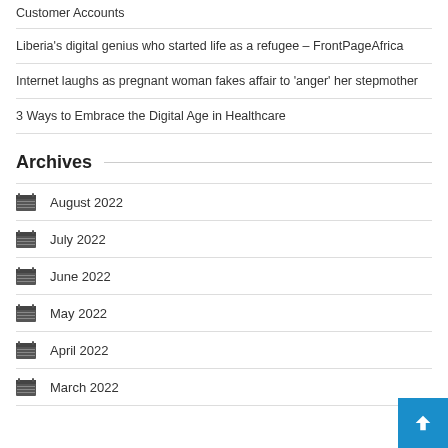Customer Accounts
Liberia's digital genius who started life as a refugee – FrontPageAfrica
Internet laughs as pregnant woman fakes affair to 'anger' her stepmother
3 Ways to Embrace the Digital Age in Healthcare
Archives
August 2022
July 2022
June 2022
May 2022
April 2022
March 2022